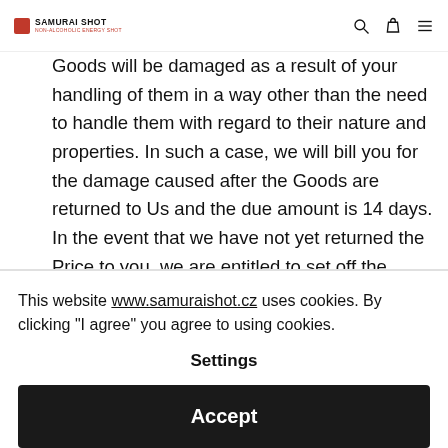SAMURAI SHOT NON-ALCOHOLIC ENERGY SHOT
Goods will be damaged as a result of your handling of them in a way other than the need to handle them with regard to their nature and properties. In such a case, we will bill you for the damage caused after the Goods are returned to Us and the due amount is 14 days. In the event that we have not yet returned the Price to you, we are entitled to set off the receivable due to costs
This website www.samuraishot.cz uses cookies. By clicking "I agree" you agree to using cookies.
Settings
Accept